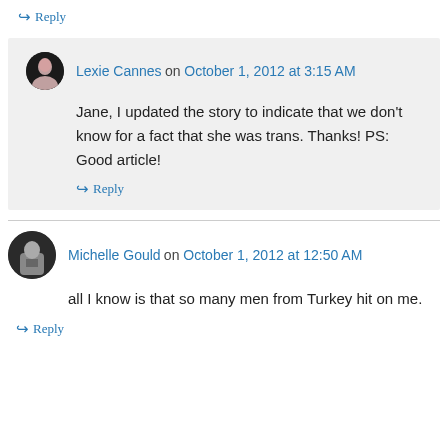↪ Reply
Lexie Cannes on October 1, 2012 at 3:15 AM
Jane, I updated the story to indicate that we don't know for a fact that she was trans. Thanks! PS: Good article!
↪ Reply
Michelle Gould on October 1, 2012 at 12:50 AM
all I know is that so many men from Turkey hit on me.
↪ Reply